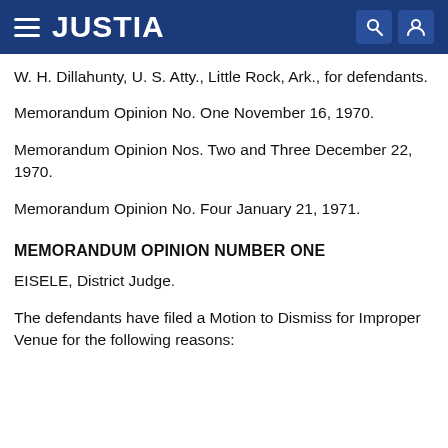JUSTIA
W. H. Dillahunty, U. S. Atty., Little Rock, Ark., for defendants.
Memorandum Opinion No. One November 16, 1970.
Memorandum Opinion Nos. Two and Three December 22, 1970.
Memorandum Opinion No. Four January 21, 1971.
MEMORANDUM OPINION NUMBER ONE
EISELE, District Judge.
The defendants have filed a Motion to Dismiss for Improper Venue for the following reasons: